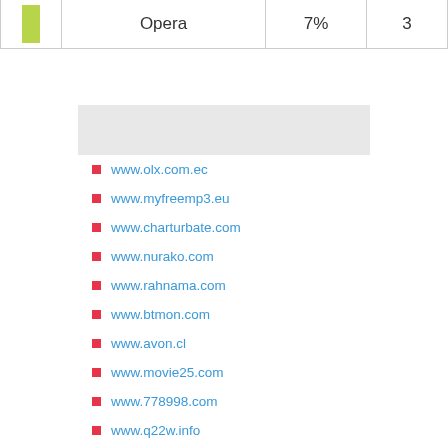|  | Opera | 7% | 3 |
| --- | --- | --- | --- |
Suggest Sites
www.olx.com.ec
www.myfreemp3.eu
www.charturbate.com
www.nurako.com
www.rahnama.com
www.btmon.com
www.avon.cl
www.movie25.com
www.778998.com
www.q22w.info
www.nnxn.com
www.costcoboxtops.com